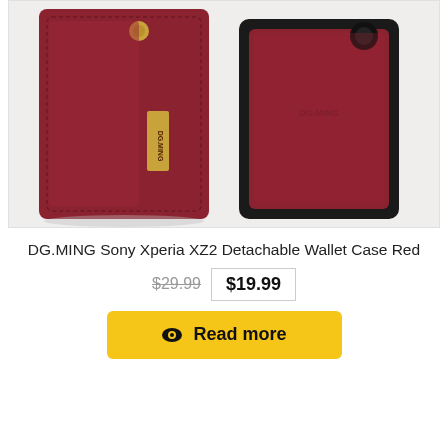[Figure (photo): Product photo showing two views of a DG.MING Sony Xperia XZ2 Detachable Wallet Case in Red. Left view shows the front of the red leather wallet case with a gold button snap and DG.MING gold label. Right view shows the back protective case shell in black with red leather panel.]
DG.MING Sony Xperia XZ2 Detachable Wallet Case Red
$29.99  $19.99
Read more